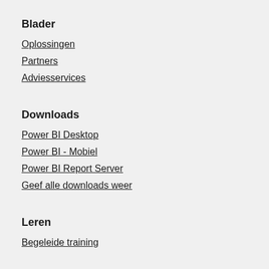Blader
Oplossingen
Partners
Adviesservices
Downloads
Power BI Desktop
Power BI - Mobiel
Power BI Report Server
Geef alle downloads weer
Leren
Begeleide training